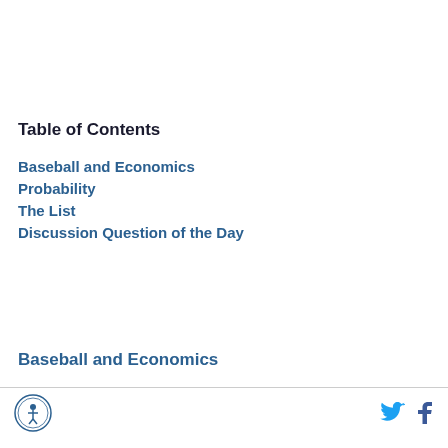Table of Contents
Baseball and Economics
Probability
The List
Discussion Question of the Day
Baseball and Economics